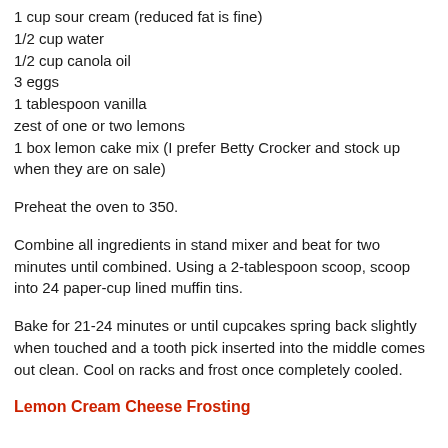1 cup sour cream (reduced fat is fine)
1/2 cup water
1/2 cup canola oil
3 eggs
1 tablespoon vanilla
zest of one or two lemons
1 box lemon cake mix (I prefer Betty Crocker and stock up when they are on sale)
Preheat the oven to 350.
Combine all ingredients in stand mixer and beat for two minutes until combined. Using a 2-tablespoon scoop, scoop into 24 paper-cup lined muffin tins.
Bake for 21-24 minutes or until cupcakes spring back slightly when touched and a tooth pick inserted into the middle comes out clean. Cool on racks and frost once completely cooled.
Lemon Cream Cheese Frosting